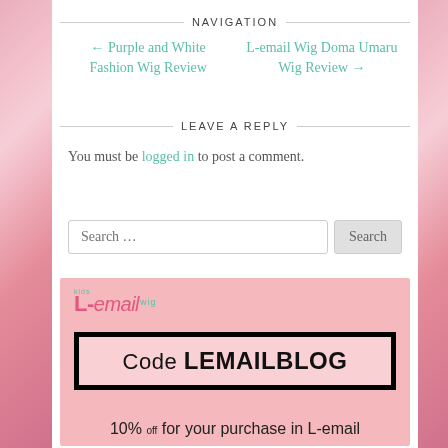NAVIGATION
← Purple and White Fashion Wig Review
L-email Wig Doma Umaru Wig Review →
LEAVE A REPLY
You must be logged in to post a comment.
[Figure (other): Search input box with placeholder 'Search …' and a Search button]
[Figure (infographic): L-email wig advertisement banner with pink background. Shows L-email wig logo, a black-bordered box with pink inner box displaying 'Code LEMAILBLOG', and text '10% off for your purchase in L-email']